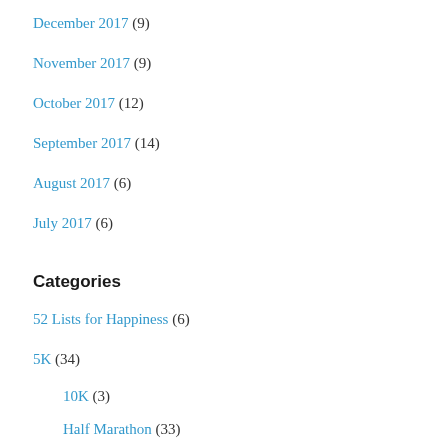December 2017 (9)
November 2017 (9)
October 2017 (12)
September 2017 (14)
August 2017 (6)
July 2017 (6)
Categories
52 Lists for Happiness (6)
5K (34)
10K (3)
Half Marathon (33)
Achillies (3)